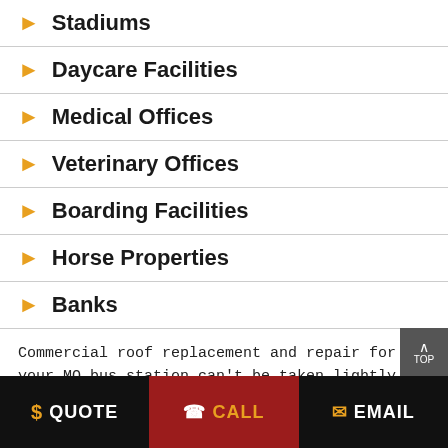Stadiums
Daycare Facilities
Medical Offices
Veterinary Offices
Boarding Facilities
Horse Properties
Banks
Commercial roof replacement and repair for your MO bus station can't be taken lightly, you need a commercial roofing contractor that provides quality workmanship and value on all types of commercial
$ QUOTE   / CALL   EMAIL